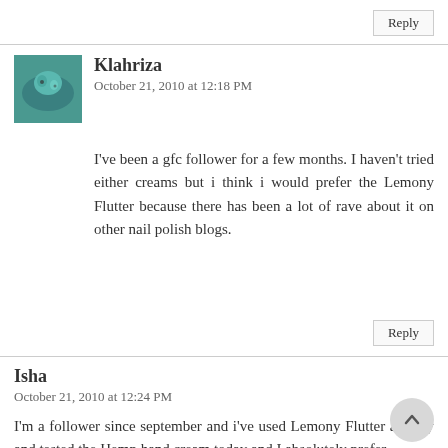Reply
Klahriza
October 21, 2010 at 12:18 PM
I've been a gfc follower for a few months. I haven't tried either creams but i think i would prefer the Lemony Flutter because there has been a lot of rave about it on other nail polish blogs.
Reply
Isha
October 21, 2010 at 12:24 PM
I'm a follower since september and i've used Lemony Flutter already and tested the Hemp hand cream today and I absolutely prefer